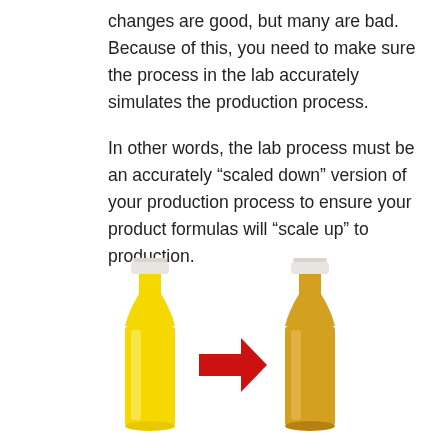changes are good, but many are bad. Because of this, you need to make sure the process in the lab accurately simulates the production process.
In other words, the lab process must be an accurately “scaled down” version of your production process to ensure your product formulas will “scale up” to production.
[Figure (illustration): Two juice bottles side by side with a red arrow pointing from a bright yellow bottle (left) to a more orange/amber colored bottle (right), illustrating the color change that can occur when scaling up production.]